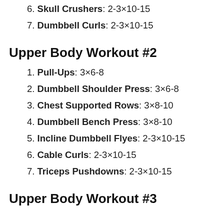6. Skull Crushers: 2-3×10-15
7. Dumbbell Curls: 2-3×10-15
Upper Body Workout #2
1. Pull-Ups: 3×6-8
2. Dumbbell Shoulder Press: 3×6-8
3. Chest Supported Rows: 3×8-10
4. Dumbbell Bench Press: 3×8-10
5. Incline Dumbbell Flyes: 2-3×10-15
6. Cable Curls: 2-3×10-15
7. Triceps Pushdowns: 2-3×10-15
Upper Body Workout #3